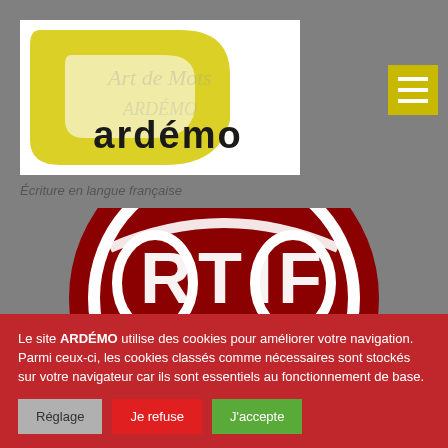[Figure (logo): ARDÉMO logo with yellow curved shape background and 'Art de Mots' watermark text, with 'ardémo' in bold black text]
Écriture en langue française
[Figure (photo): Partial view of a dark red certification seal/stamp with white letters 'RTIF' and curved shapes visible]
Le site ARDÉMO utilise des cookies pour améliorer votre navigation. Parmi ceux-ci, les cookies classés comme nécessaires sont stockés sur votre navigateur car ils sont essentiels au fonctionnement de base.
Réglage
Je refuse
J'accepte